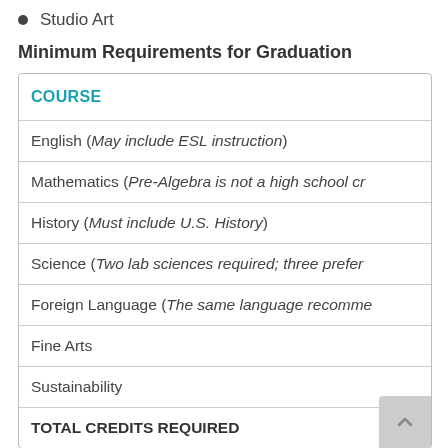Studio Art
Minimum Requirements for Graduation
| COURSE |
| --- |
| English (May include ESL instruction) |
| Mathematics (Pre-Algebra is not a high school cr…) |
| History (Must include U.S. History) |
| Science (Two lab sciences required; three prefer…) |
| Foreign Language (The same language recomme…) |
| Fine Arts |
| Sustainability |
| TOTAL CREDITS REQUIRED |